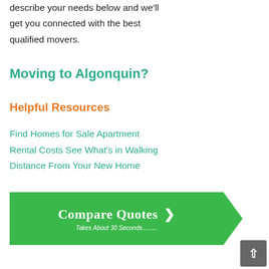describe your needs below and we'll get you connected with the best qualified movers.
Moving to Algonquin?
Helpful Resources
Find Homes for Sale Apartment Rental Costs See What's in Walking Distance From Your New Home
[Figure (infographic): Green arrow-shaped banner button with text 'Compare Quotes >' and subtext 'Takes About 30 Seconds........']
[Figure (other): Dark grey scroll-to-top button with upward arrow in the bottom right corner]